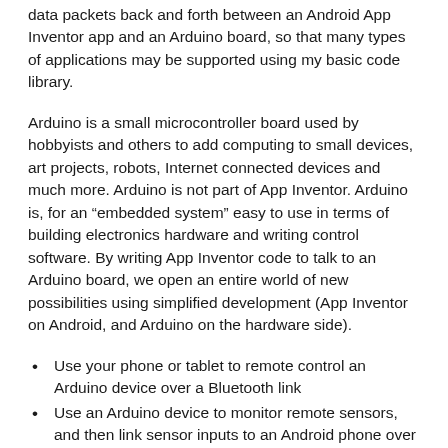data packets back and forth between an Android App Inventor app and an Arduino board, so that many types of applications may be supported using my basic code library.
Arduino is a small microcontroller board used by hobbyists and others to add computing to small devices, art projects, robots, Internet connected devices and much more. Arduino is not part of App Inventor. Arduino is, for an “embedded system” easy to use in terms of building electronics hardware and writing control software. By writing App Inventor code to talk to an Arduino board, we open an entire world of new possibilities using simplified development (App Inventor on Android, and Arduino on the hardware side).
Use your phone or tablet to remote control an Arduino device over a Bluetooth link
Use an Arduino device to monitor remote sensors, and then link sensor inputs to an Android phone over Bluetooth
Conceptually, an Arduino device could monitor local